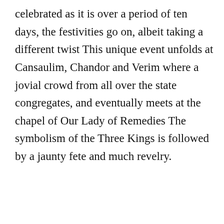celebrated as it is over a period of ten days, the festivities go on, albeit taking a different twist This unique event unfolds at Cansaulim, Chandor and Verim where a jovial crowd from all over the state congregates, and eventually meets at the chapel of Our Lady of Remedies The symbolism of the Three Kings is followed by a jaunty fete and much revelry.
[Figure (screenshot): Screenshot of a webpage showing a broken image placeholder labeled 'kite-festival', a 'Promoted X' badge, two thumbnail images (a car interior and a group of people with a play button circle), and an advertisement overlay for InstoBank with text 'Goodbye chargebacks, hello Guaranteed Invoices', InstoBank link, and 'Try for free' link.]